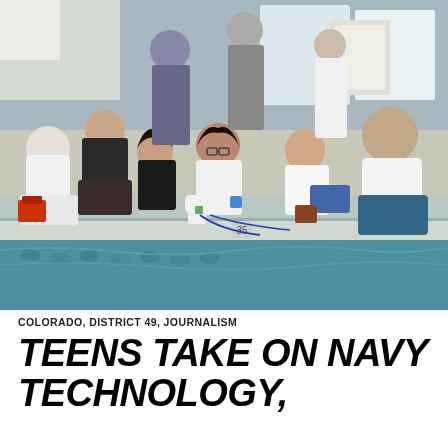[Figure (photo): Teenagers in white t-shirts lean over the edge of an indoor swimming pool, placing robotic devices into the water. Multiple students are seated or kneeling at the pool's edge with wires and equipment. Adults and observers stand in the background. The setting appears to be an underwater robotics competition.]
COLORADO, DISTRICT 49, JOURNALISM
TEENS TAKE ON NAVY TECHNOLOGY,